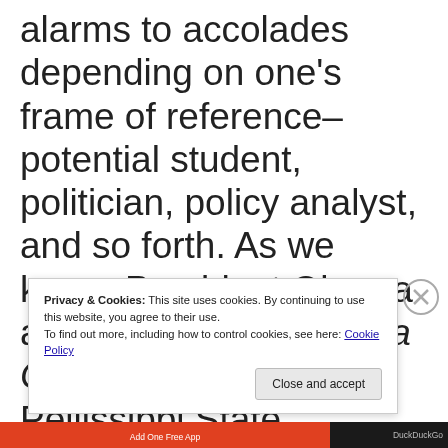alarms to accolades depending on one's frame of reference– potential student, politician, policy analyst, and so forth. As we know, President Obama announced the America College Promise at Pellissippi State Community College in Knoxville, T...
Privacy & Cookies: This site uses cookies. By continuing to use this website, you agree to their use. To find out more, including how to control cookies, see here: Cookie Policy
Close and accept